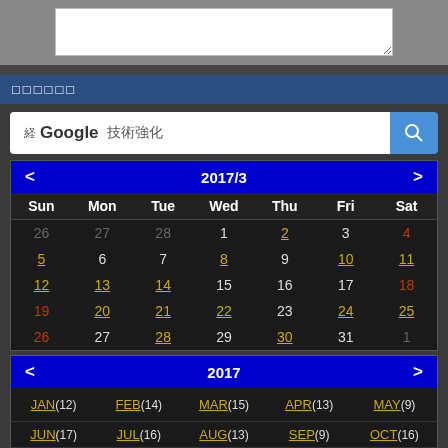[Figure (screenshot): Top portion: grey bar with white textarea input box]
□□□□□□
[Figure (screenshot): Search bar: 経 Google 技術強化 with blue search button]
| Sun | Mon | Tue | Wed | Thu | Fri | Sat |
| --- | --- | --- | --- | --- | --- | --- |
| 26 | 27 | 28 | 1 | 2 | 3 | 4 |
| 5 | 6 | 7 | 8 | 9 | 10 | 11 |
| 12 | 13 | 14 | 15 | 16 | 17 | 18 |
| 19 | 20 | 21 | 22 | 23 | 24 | 25 |
| 26 | 27 | 28 | 29 | 30 | 31 | 1 |
| JAN(12) | FEB(14) | MAR(15) | APR(13) | MAY(9) | JUN(17) | JUL(16) | AUG(13) | SEP(9) | OCT(16) | NOV(12) | DEC(22) |
| --- | --- | --- | --- | --- | --- | --- | --- | --- | --- | --- | --- |